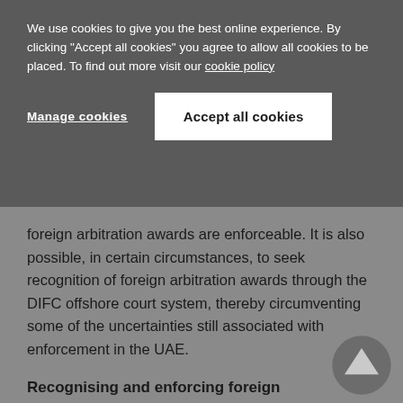We use cookies to give you the best online experience. By clicking "Accept all cookies" you agree to allow all cookies to be placed. To find out more visit our cookie policy
Manage cookies
Accept all cookies
foreign arbitration awards are enforceable. It is also possible, in certain circumstances, to seek recognition of foreign arbitration awards through the DIFC offshore court system, thereby circumventing some of the uncertainties still associated with enforcement in the UAE.
Recognising and enforcing foreign arbitration awards through the civil courts